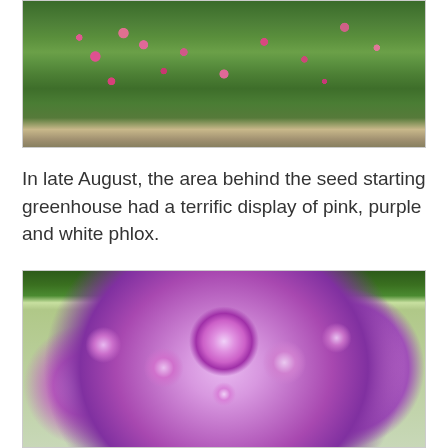[Figure (photo): Garden scene showing pink flowers (phlox) among green foliage with a stone wall and pathway in the background]
In late August, the area behind the seed starting greenhouse had a terrific display of pink, purple and white phlox.
[Figure (photo): Close-up photograph of pink/lavender phlox flowers in full bloom, showing clusters of five-petaled flowers with darker pink centers]